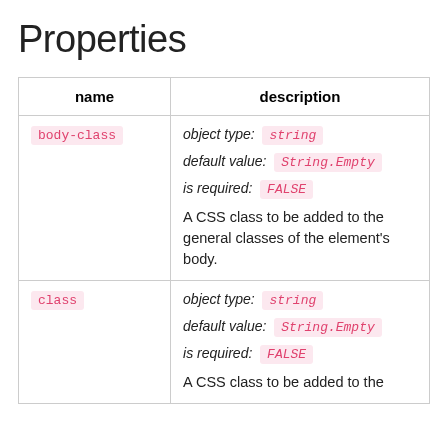Properties
| name | description |
| --- | --- |
| body-class | object type: string
default value: String.Empty
is required: FALSE
A CSS class to be added to the general classes of the element's body. |
| class | object type: string
default value: String.Empty
is required: FALSE
A CSS class to be added to the |